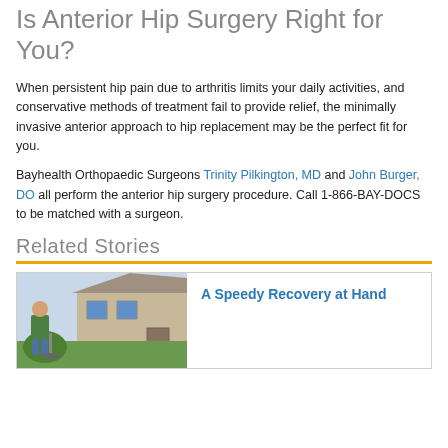Is Anterior Hip Surgery Right for You?
When persistent hip pain due to arthritis limits your daily activities, and conservative methods of treatment fail to provide relief, the minimally invasive anterior approach to hip replacement may be the perfect fit for you.
Bayhealth Orthopaedic Surgeons Trinity Pilkington, MD and John Burger, DO all perform the anterior hip surgery procedure. Call 1-866-BAY-DOCS to be matched with a surgeon.
Related Stories
[Figure (photo): Card with photo of an elderly man standing outside a house holding a grass trimmer, mowing lawn. Next to it is a link titled 'A Speedy Recovery at Hand'.]